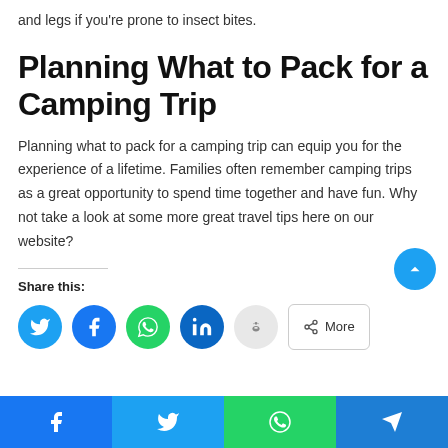and legs if you're prone to insect bites.
Planning What to Pack for a Camping Trip
Planning what to pack for a camping trip can equip you for the experience of a lifetime. Families often remember camping trips as a great opportunity to spend time together and have fun. Why not take a look at some more great travel tips here on our website?
Share this:
[Figure (infographic): Social share buttons: Twitter (blue circle), Facebook (blue circle), WhatsApp (green circle), LinkedIn (dark blue circle), Reddit (light gray circle), More button. Plus a scroll-to-top button (blue circle with up arrow). Bottom bar with Facebook, Twitter, WhatsApp, Telegram icons.]